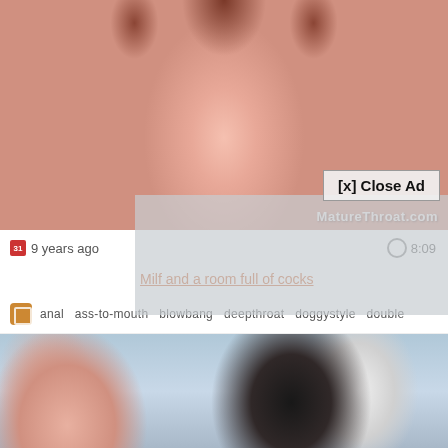[Figure (photo): Blurred close-up adult content image with pink and brown tones]
[x] Close Ad
MatureThroat.com
9 years ago
8:09
Milf and a room full of cocks
anal  ass-to-mouth  blowbang  deepthroat  doggystyle  double
[Figure (photo): Partial view of adult content image showing woman with dark hair, light top, in blue-toned background]